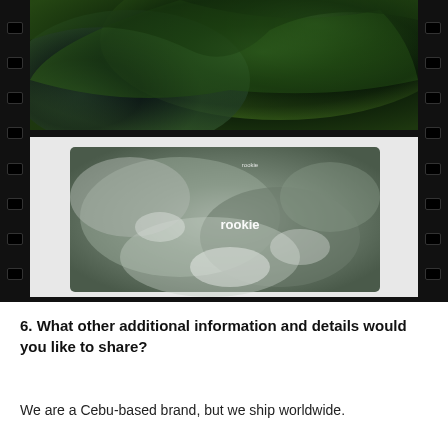[Figure (photo): Film strip style layout showing two photos of tie-dye t-shirts against a black film strip background. Top image shows a colorful dark green/teal tie-dye shirt. Bottom image shows a grey/white cloudy tie-dye shirt with 'rookie' logo branding on the chest.]
6. What other additional information and details would you like to share?
We are a Cebu-based brand, but we ship worldwide.